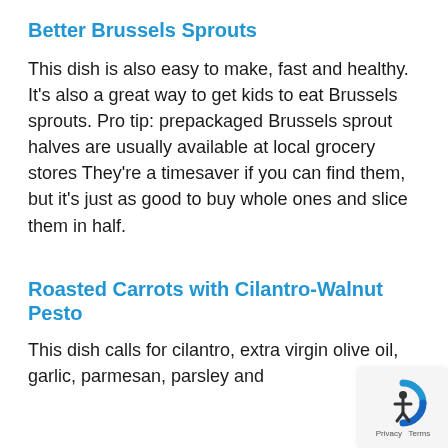Better Brussels Sprouts
This dish is also easy to make, fast and healthy. It's also a great way to get kids to eat Brussels sprouts. Pro tip: prepackaged Brussels sprout halves are usually available at local grocery stores They're a timesaver if you can find them, but it's just as good to buy whole ones and slice them in half.
Roasted Carrots with Cilantro-Walnut Pesto
This dish calls for cilantro, extra virgin olive oil, garlic, parmesan, parsley and